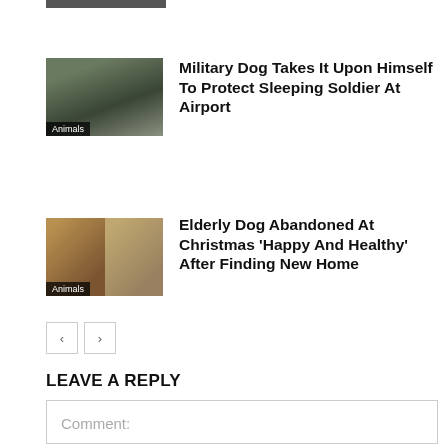[Figure (photo): Partial thumbnail of a previous article, cropped at top of page]
[Figure (photo): Military dog lying next to a sleeping soldier at an airport]
Military Dog Takes It Upon Himself To Protect Sleeping Soldier At Airport
[Figure (photo): Two images of an elderly dog, one showing the dog barking, another showing the dog resting]
Elderly Dog Abandoned At Christmas ‘Happy And Healthy’ After Finding New Home
< >
LEAVE A REPLY
Comment: